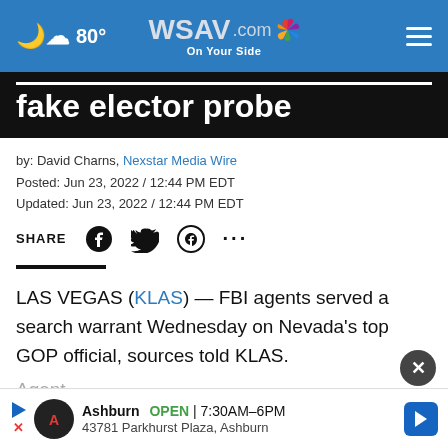WSAV.com On Your Side — 80°
fake elector probe
by: David Charns, Nexstar Media Wire
Posted: Jun 23, 2022 / 12:44 PM EDT
Updated: Jun 23, 2022 / 12:44 PM EDT
SHARE
LAS VEGAS (KLAS) — FBI agents served a search warrant Wednesday on Nevada's top GOP official, sources told KLAS.
Agents ... chairman Michael McDonald reportedly as part of an